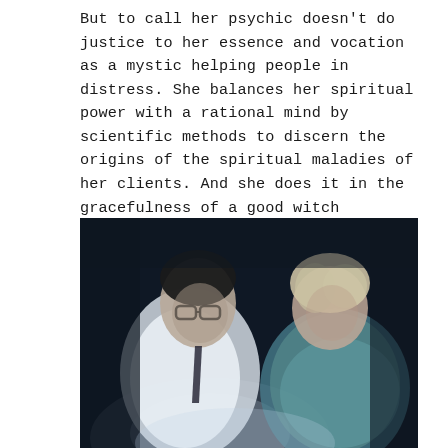But to call her psychic doesn't do justice to her essence and vocation as a mystic helping people in distress. She balances her spiritual power with a rational mind by scientific methods to discern the origins of the spiritual maladies of her clients. And she does it in the gracefulness of a good witch performing white magic that I believe even priests would be envious of.
[Figure (photo): Two people in a dark setting looking downward toward a light source. On the left is a man wearing glasses and a white shirt with a dark tie. On the right is an older woman with short blonde/white hair wearing a teal/light blue scarf or wrap.]